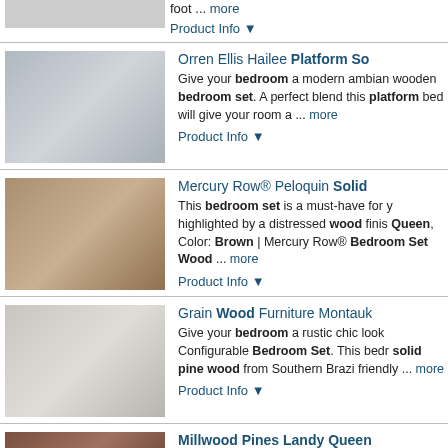foot ... more
Product Info ▼
Orren Ellis Hailee Platform So...
[Figure (photo): Bedroom set with white upholstered headboard and side tables]
Give your bedroom a modern ambiance wooden bedroom set. A perfect blend this platform bed will give your room a ... more
Product Info ▼
Mercury Row® Peloquin Solid...
[Figure (photo): Rustic wood platform bed with two nightstands]
This bedroom set is a must-have for you highlighted by a distressed wood finish Queen, Color: Brown | Mercury Row® Bedroom Set Wood ... more
Product Info ▼
Grain Wood Furniture Montauk...
[Figure (photo): White upholstered bed with dark blanket]
Give your bedroom a rustic chic look Configurable Bedroom Set. This bedroom solid pine wood from Southern Brazil friendly ... more
Product Info ▼
Millwood Pines Landy Queen...
[Figure (photo): Dark wood bed frame with two nightstands]
Features: Set includes 1 bed and 2 nightstands bedPieces Included: Bed;NightstandN PieceConfigurable: NoColor: Dark bro...